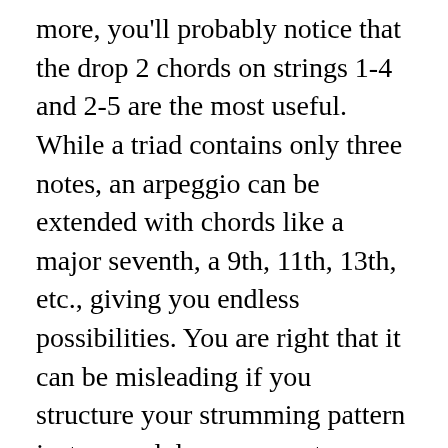more, you'll probably notice that the drop 2 chords on strings 1-4 and 2-5 are the most useful. While a triad contains only three notes, an arpeggio can be extended with chords like a major seventh, a 9th, 11th, 13th, etc., giving you endless possibilities. You are right that it can be misleading if you structure your strumming pattern just around down or up strums, but it is helpful to know what your strumming hand is doing. That still holds absolutely true. On the web, you can find lots of chord diagrams, but this guitar chords library is different: it shows you how the proper way to place your fingers to play a given chord, but also tells you the name of the notes that compose that chord, and even the intervals in the chord!. The